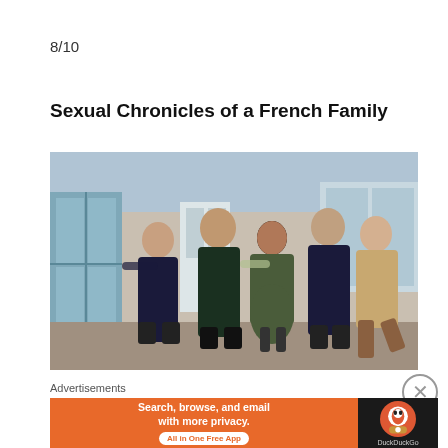8/10
Sexual Chronicles of a French Family
[Figure (photo): Group photo of five people standing together in front of a house exterior. Three men and two women posing together, one woman in a floral dress in the center.]
Advertisements
[Figure (other): DuckDuckGo advertisement banner: 'Search, browse, and email with more privacy. All in One Free App' with DuckDuckGo logo on dark background.]